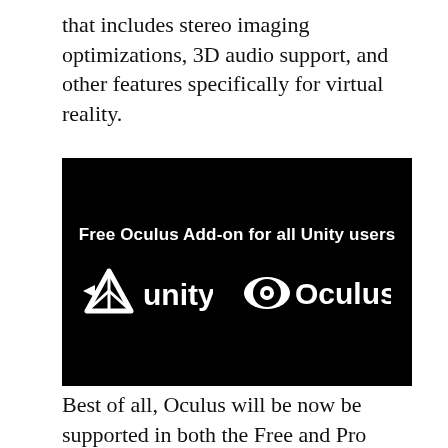that includes stereo imaging optimizations, 3D audio support, and other features specifically for virtual reality.
[Figure (logo): Black banner with text 'Free Oculus Add-on for all Unity users' and Unity and Oculus logos side by side in white on black background.]
Best of all, Oculus will be now be supported in both the Free and Pro versions of Unity.